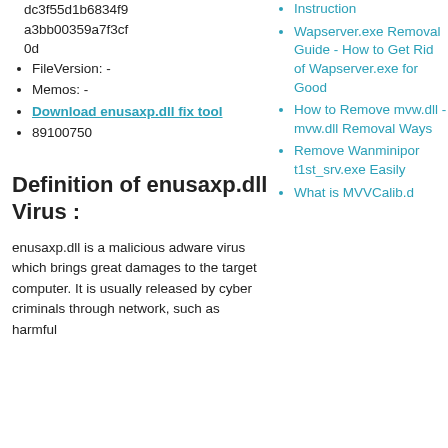dc3f55d1b6834f9a3bb00359a7f3cf0d
FileVersion: -
Memos: -
Download enusaxp.dll fix tool
89100750
Instruction
Wapserver.exe Removal Guide - How to Get Rid of Wapserver.exe for Good
How to Remove mvw.dll - mvw.dll Removal Ways
Remove Wanminipor t1st_srv.exe Easily
What is MVVCalib.d
Definition of enusaxp.dll Virus :
enusaxp.dll is a malicious adware virus which brings great damages to the target computer. It is usually released by cyber criminals through network, such as harmful